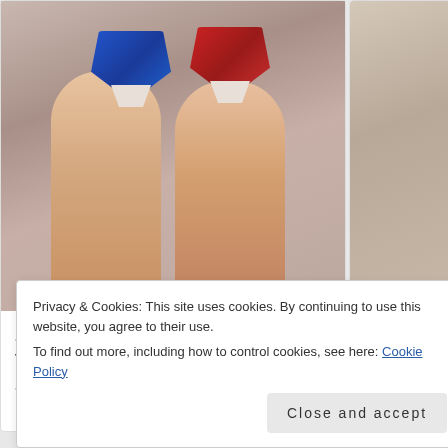[Figure (photo): Two small hearing aids (one blue, one red, both Signia brand) held between fingers, close-up photo]
Seniors with Hearing Loss in Virginia Regret Not Knowing This Sooner
[Figure (photo): Partially visible second article image, cropped on right side]
Powerful Crushing
Privacy & Cookies: This site uses cookies. By continuing to use this website, you agree to their use.
To find out more, including how to control cookies, see here: Cookie Policy
Close and accept